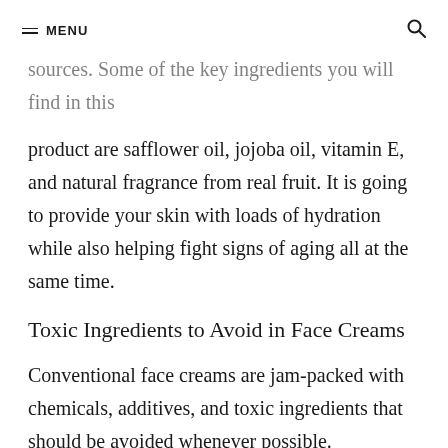MENU
sources. Some of the key ingredients you will find in this product are safflower oil, jojoba oil, vitamin E, and natural fragrance from real fruit. It is going to provide your skin with loads of hydration while also helping fight signs of aging all at the same time.
Toxic Ingredients to Avoid in Face Creams
Conventional face creams are jam-packed with chemicals, additives, and toxic ingredients that should be avoided whenever possible. Thankfully, it is not that hard to avoid most of these toxic ingredients with all of the amazing, healthy, and high-quality organic and